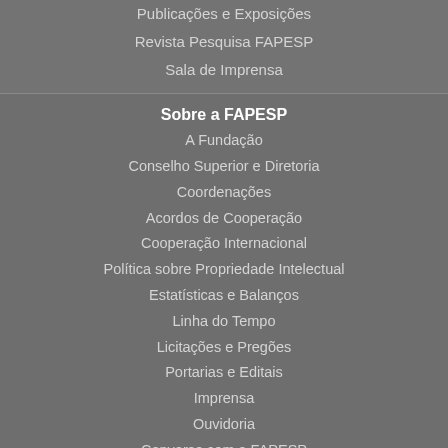Publicações e Exposições
Revista Pesquisa FAPESP
Sala de Imprensa
Sobre a FAPESP
A Fundação
Conselho Superior e Diretoria
Coordenações
Acordos de Cooperação
Cooperação Internacional
Política sobre Propriedade Intelectual
Estatísticas e Balanços
Linha do Tempo
Licitações e Pregões
Portarias e Editais
Imprensa
Ouvidoria
Converse com a FAPESP